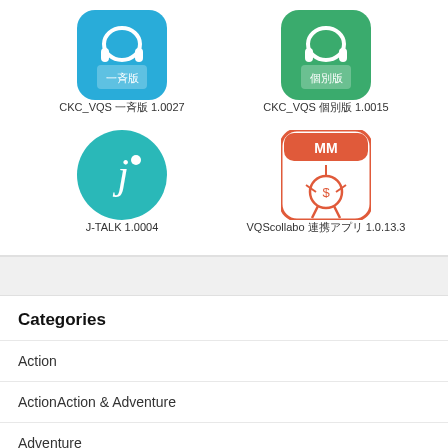[Figure (screenshot): App icon for CKC_VQS 一斉版 1.0027 - blue rounded square icon with Japanese characters]
CKC_VQS 一斉版 1.0027
[Figure (screenshot): App icon for CKC_VQS 個別版 1.0015 - green rounded square icon with Japanese characters]
CKC_VQS 個別版 1.0015
[Figure (screenshot): App icon for J-TALK 1.0004 - teal circle with letter j]
J-TALK 1.0004
[Figure (screenshot): App icon for VQScollabo - orange/red rounded square with MM calendar and character]
VQScollabo 連携アプリ 1.0.13.3
Categories
Action
ActionAction & Adventure
Adventure
AdventureAction & Adventure